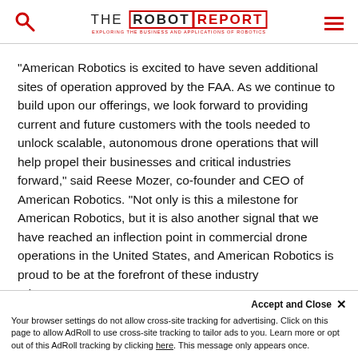THE ROBOT REPORT — EXPLORING THE BUSINESS AND APPLICATIONS OF ROBOTICS
“American Robotics is excited to have seven additional sites of operation approved by the FAA. As we continue to build upon our offerings, we look forward to providing current and future customers with the tools needed to unlock scalable, autonomous drone operations that will help propel their businesses and critical industries forward,” said Reese Mozer, co-founder and CEO of American Robotics. “Not only is this a milestone for American Robotics, but it is also another signal that we have reached an inflection point in commercial drone operations in the United States, and American Robotics is proud to be at the forefront of these industry advancements.”
Accept and Close × Your browser settings do not allow cross-site tracking for advertising. Click on this page to allow AdRoll to use cross-site tracking to tailor ads to you. Learn more or opt out of this AdRoll tracking by clicking here. This message only appears once.